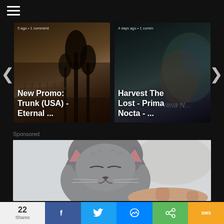[Figure (screenshot): Hamburger menu icon (three horizontal white lines) on dark background navigation bar]
[Figure (screenshot): Carousel card 1: dark sepia landscape background with text overlay. Meta text: '5 ago • 1 comment'. Title: 'New Promo: Trunk (USA) - Eternal ...']
[Figure (screenshot): Carousel card 2: dark teal/album art background. Meta text: '4 days ago • 1 comm'. Title: 'Harvest The Lost - Prima Nocta - ...']
Sponsored
[Figure (photo): Close-up photo of a grey British Shorthair cat with closed eyes, being held/petted by a human hand, light grey background]
22 Shares
[Figure (screenshot): Bottom social share bar with Facebook (f), Twitter (bird), Messenger (lightning bolt), Share (arrows), and SMS buttons]